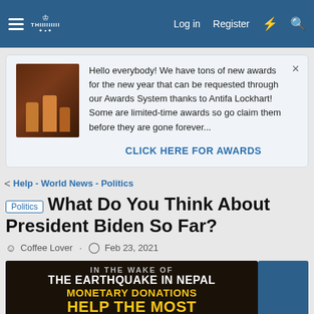Log in  Register
Hello everybody! We have tons of new awards for the new year that can be requested through our Awards System thanks to Antifa Lockhart! Some are limited-time awards so go claim them before they are gone forever...
CLICK HERE FOR AWARDS
< Help - World News - Politics
Politics  What Do You Think About President Biden So Far?
Coffee Lover · Feb 23, 2021
[Figure (photo): Dark promotional banner image with text: IN THE WAKE OF / THE EARTHQUAKE IN NEPAL / MONETARY DONATIONS / HELP THE MOST]